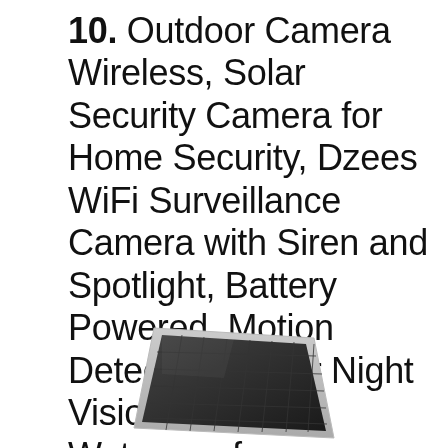10. Outdoor Camera Wireless, Solar Security Camera for Home Security, Dzees WiFi Surveillance Camera with Siren and Spotlight, Battery Powered, Motion Detection, Color Night Vision, IP66 Waterproof
[Figure (photo): Partial image of a solar panel for a wireless outdoor security camera, visible at the bottom of the page.]